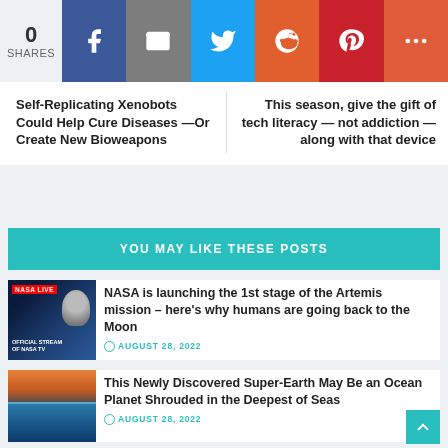0 SHARES | Social share buttons: Facebook, Email, Twitter, Reddit, Pinterest, More
Self-Replicating Xenobots Could Help Cure Diseases —Or Create New Bioweapons
This season, give the gift of tech literacy — not addiction — along with that device
YOU MAY LIKE THESE POSTS
[Figure (photo): NASA LIVE stream thumbnail showing an astronaut in a spacesuit with NASA TV official stream branding on dark blue background]
NASA is launching the 1st stage of the Artemis mission – here's why humans are going back to the Moon
AUGUST 28, 2022
[Figure (photo): Ocean waves at sunset with dramatic orange sky and deep blue sea]
This Newly Discovered Super-Earth May Be an Ocean Planet Shrouded in the Deepest of Seas
AUGUST 28, 2022
[Figure (photo): Close-up of a golden/amber colored guitar body against blue sky]
This Week's Awesome Tech Stories From Around the Web (Through August 27)
AUGUST 27, 2022